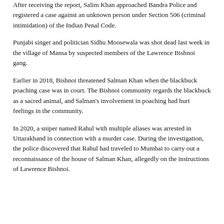After receiving the report, Salim Khan approached Bandra Police and registered a case against an unknown person under Section 506 (criminal intimidation) of the Indian Penal Code.
Punjabi singer and politician Sidhu Moosewala was shot dead last week in the village of Mansa by suspected members of the Lawrence Bishnoi gang.
Earlier in 2018, Bishnoi threatened Salman Khan when the blackbuck poaching case was in court. The Bishnoi community regards the blackbuck as a sacred animal, and Salman's involvement in poaching had hurt feelings in the community.
In 2020, a sniper named Rahul with multiple aliases was arrested in Uttarakhand in connection with a murder case. During the investigation, the police discovered that Rahul had traveled to Mumbai to carry out a reconnaissance of the house of Salman Khan, allegedly on the instructions of Lawrence Bishnoi.